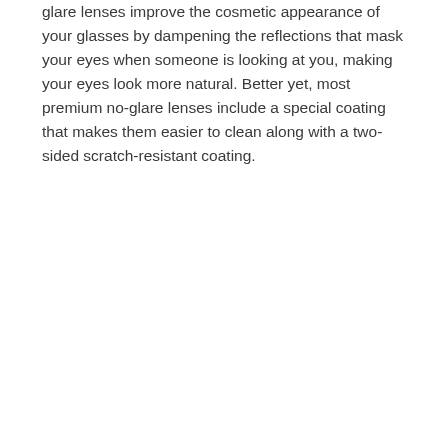glare lenses improve the cosmetic appearance of your glasses by dampening the reflections that mask your eyes when someone is looking at you, making your eyes look more natural. Better yet, most premium no-glare lenses include a special coating that makes them easier to clean along with a two-sided scratch-resistant coating.